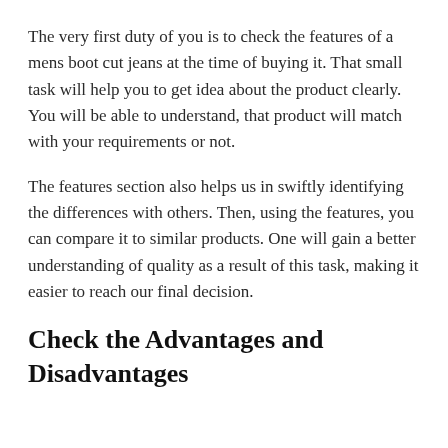The very first duty of you is to check the features of a mens boot cut jeans at the time of buying it. That small task will help you to get idea about the product clearly. You will be able to understand, that product will match with your requirements or not.
The features section also helps us in swiftly identifying the differences with others. Then, using the features, you can compare it to similar products. One will gain a better understanding of quality as a result of this task, making it easier to reach our final decision.
Check the Advantages and Disadvantages